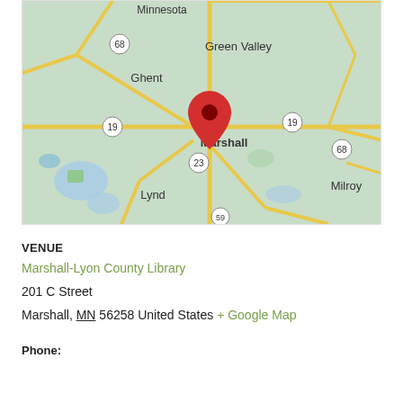[Figure (map): Google Maps view of Marshall, Minnesota showing surrounding towns including Green Valley, Ghent, Lynd, Milroy, with route markers 19, 23, 68, and a red location pin on Marshall.]
VENUE
Marshall-Lyon County Library
201 C Street
Marshall, MN 56258 United States + Google Map
Phone: